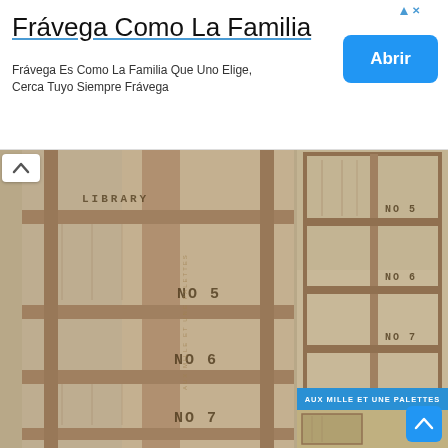[Figure (screenshot): Advertisement banner for Frávega Como La Familia with title, subtitle text, and blue Abrir (Open) button]
Frávega Como La Familia
Frávega Es Como La Familia Que Uno Elige, Cerca Tuyo Siempre Frávega
[Figure (photo): Two photos of a rustic wooden pallet bookshelf with stenciled shelf labels LIBRARY, NO 5, NO 6, NO 7. Left photo shows close-up angle, right photo shows full front view. Watermark reads AUX MILLE ET UNE PALETTES.]